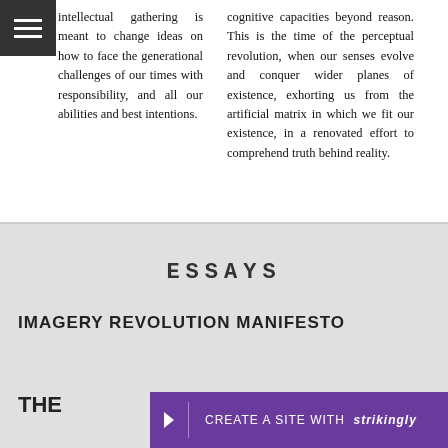intellectual gathering is meant to change ideas on how to face the generational challenges of our times with responsibility, and all our abilities and best intentions.
cognitive capacities beyond reason. This is the time of the perceptual revolution, when our senses evolve and conquer wider planes of existence, exhorting us from the artificial matrix in which we fit our existence, in a renovated effort to comprehend truth behind reality.
ESSAYS
IMAGERY REVOLUTION MANIFESTO
THE
CREATE A SITE WITH strikingly